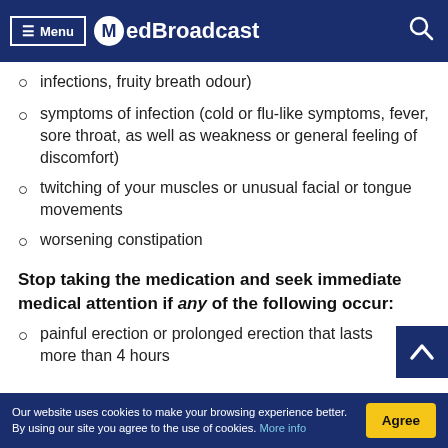Menu | MedBroadcast
infections, fruity breath odour)
symptoms of infection (cold or flu-like symptoms, fever, sore throat, as well as weakness or general feeling of discomfort)
twitching of your muscles or unusual facial or tongue movements
worsening constipation
Stop taking the medication and seek immediate medical attention if any of the following occur:
painful erection or prolonged erection that lasts more than 4 hours
Our website uses cookies to make your browsing experience better. By using our site you agree to the use of cookies. More info | Agree